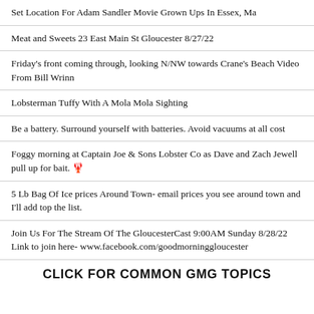Set Location For Adam Sandler Movie Grown Ups In Essex, Ma
Meat and Sweets 23 East Main St Gloucester 8/27/22
Friday's front coming through, looking N/NW towards Crane's Beach Video From Bill Wrinn
Lobsterman Tuffy With A Mola Mola Sighting
Be a battery. Surround yourself with batteries. Avoid vacuums at all cost
Foggy morning at Captain Joe & Sons Lobster Co as Dave and Zach Jewell pull up for bait. 🦞
5 Lb Bag Of Ice prices Around Town- email prices you see around town and I'll add top the list.
Join Us For The Stream Of The GloucesterCast 9:00AM Sunday 8/28/22 Link to join here- www.facebook.com/goodmorninggloucester
CLICK FOR COMMON GMG TOPICS